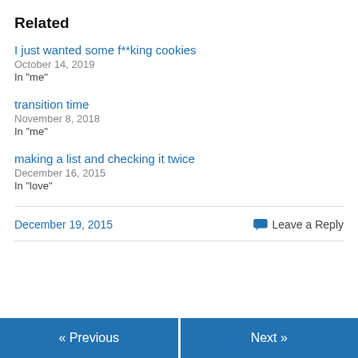Related
I just wanted some f**king cookies
October 14, 2019
In "me"
transition time
November 8, 2018
In "me"
making a list and checking it twice
December 16, 2015
In "love"
December 19, 2015   Leave a Reply
« Previous   Next »